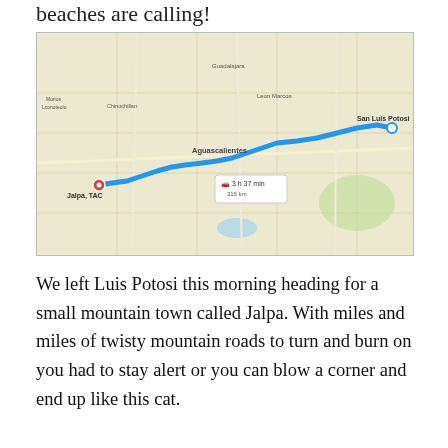beaches are calling!
[Figure (map): Google Maps screenshot showing a driving route from San Luis Potosi to Jalpa, TAC with a blue route line passing through Aguascalientes. The route tooltip shows 3 h 37 min.]
We left Luis Potosi this morning heading for a small mountain town called Jalpa. With miles and miles of twisty mountain roads to turn and burn on you had to stay alert or you can blow a corner and end up like this cat.